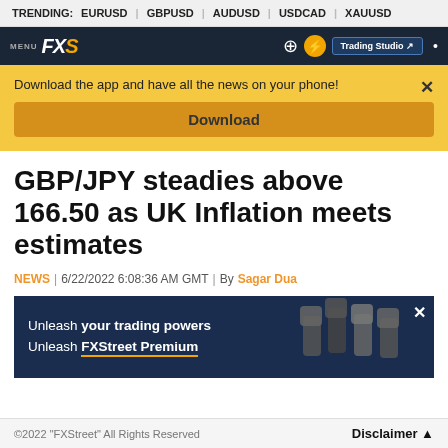TRENDING: EURUSD | GBPUSD | AUDUSD | USDCAD | XAUUSD
[Figure (screenshot): FXStreet navigation bar with MENU label, FXS logo, and Trading Studio button]
Download the app and have all the news on your phone!
Download
GBP/JPY steadies above 166.50 as UK Inflation meets estimates
NEWS | 6/22/2022 6:08:36 AM GMT | By Sagar Dua
[Figure (illustration): FXStreet Premium advertisement banner with raised fists and text: Unleash your trading powers Unleash FXStreet Premium]
©2022 "FXStreet" All Rights Reserved    Disclaimer ▲